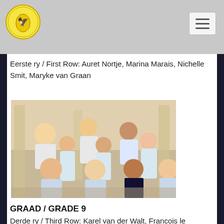Eerste ry / First Row: Auret Nortje, Marina Marais, Nichelle Smit, Maryke van Graan
[Figure (photo): Group photo of approximately 10 students in school uniforms (light blue/white) posing in three rows on what appears to be school grounds with pillars in the background.]
GRAAD / GRADE 9
Derde ry / Third Row: Karel van der Walt, Francois le